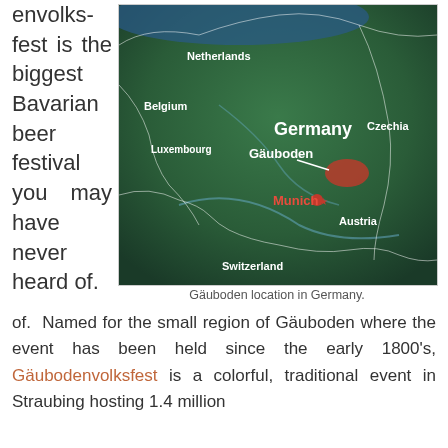envolksfest is the biggest Bavarian beer festival you may have never heard of.
[Figure (map): Satellite map of Germany showing the location of Gäuboden region and Munich, with surrounding countries Netherlands, Belgium, Luxembourg, Switzerland, Austria, Czechia labeled. A red highlighted area marks Gäuboden and Munich has a red star marker.]
Gäuboden location in Germany.
Named for the small region of Gäuboden where the event has been held since the early 1800's, Gäubodenvolksfest is a colorful, traditional event in Straubing hosting 1.4 million